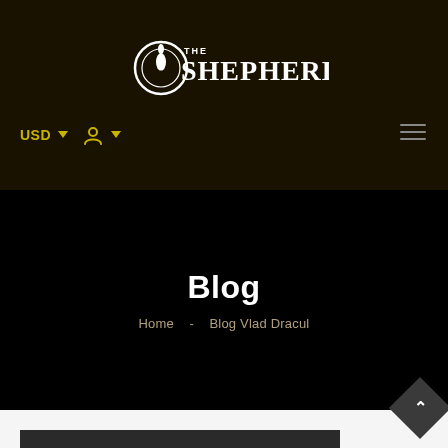[Figure (logo): The Shepherd logo — stylized text 'THE SHEPHERD' with a torch/flame icon in a circular emblem, white text on dark brown background]
USD  ☰
Blog
Home  -  Blog Vlad Dracul